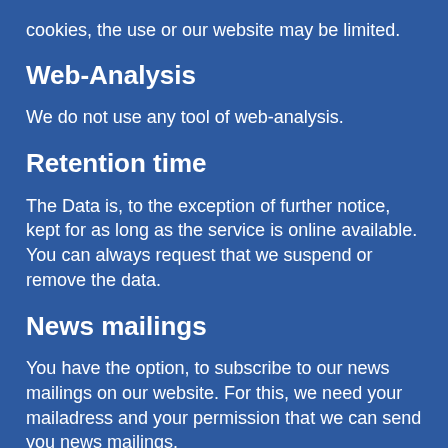cookies, the use or our website may be limited.
Web-Analysis
We do not use any tool of web-analysis.
Retention time
The Data is, to the exception of further notice, kept for as long as the service is online available. You can always request that we suspend or remove the data.
News mailings
You have the option, to subscribe to our news mailings on our website. For this, we need your mailadress and your permission that we can send you news mailings.
You can unsubscribe to our news mailings at any time.
Please inform us to do so by email to
info@...